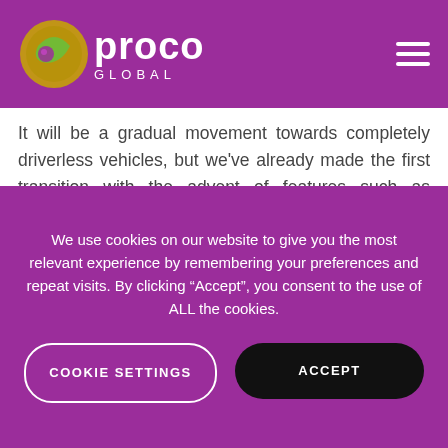proco GLOBAL
It will be a gradual movement towards completely driverless vehicles, but we've already made the first transition with the advent of features such as adaptive cruise control (ACC) and automated parking systems (APS). Companies have long been investing into research and development that will allow cars to operate via a series of cameras, lasers and sensors.
We use cookies on our website to give you the most relevant experience by remembering your preferences and repeat visits. By clicking “Accept”, you consent to the use of ALL the cookies.